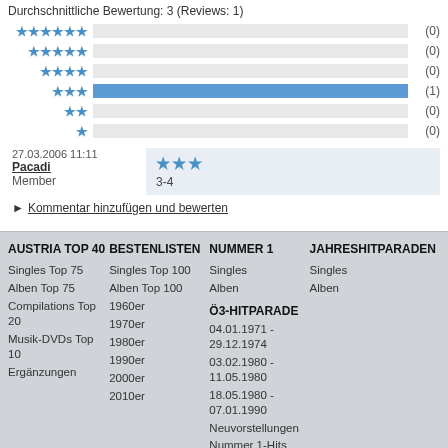Durchschnittliche Bewertung: 3 (Reviews: 1)
[Figure (bar-chart): Rating distribution]
27.03.2006 11:11
Pacadi
Member
*** 3-4
Kommentar hinzufügen und bewerten
AUSTRIA TOP 40
BESTENLISTEN
NUMMER 1
JAHRESHITPARADEN
Singles Top 75
Alben Top 75
Compilations Top 20
Musik-DVDs Top 10
Ergänzungen
Singles Top 100
Alben Top 100
1960er
1970er
1980er
1990er
2000er
2010er
Singles
Alben
Singles
Alben
Ö3-HITPARADE
04.01.1971 - 29.12.1974
03.02.1980 - 11.05.1980
18.05.1980 - 07.01.1990
Neuvorstellungen
Nummer 1-Hits
Jahreshitparaden
REVIEWS
SONG CONTEST
FORUM